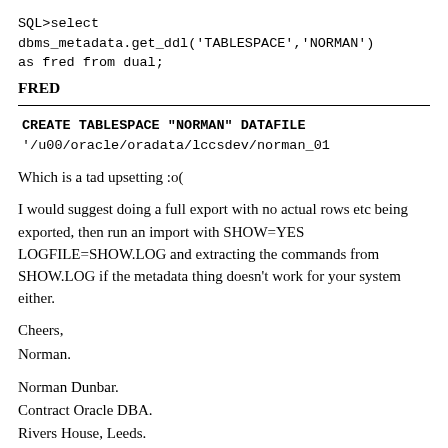SQL>select dbms_metadata.get_ddl('TABLESPACE','NORMAN') as fred from dual;
FRED
CREATE TABLESPACE "NORMAN" DATAFILE '/u00/oracle/oradata/lccsdev/norman_01
Which is a tad upsetting :o(
I would suggest doing a full export with no actual rows etc being exported, then run an import with SHOW=YES LOGFILE=SHOW.LOG and extracting the commands from SHOW.LOG if the metadata thing doesn't work for your system either.
Cheers,
Norman.
Norman Dunbar.
Contract Oracle DBA.
Rivers House, Leeds.
Internal : 7 28 2051
External : 113 274 2051